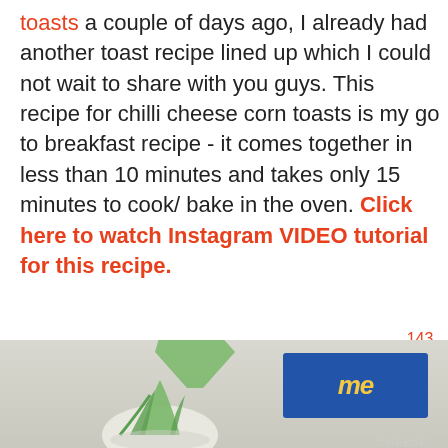toasts a couple of days ago, I already had another toast recipe lined up which I could not wait to share with you guys. This recipe for chilli cheese corn toasts is my go to breakfast recipe - it comes together in less than 10 minutes and takes only 15 minutes to cook/ bake in the oven. Click here to watch Instagram VIDEO tutorial for this recipe.
[Figure (photo): Bottom portion of a food photo showing green herb garnish and a blue branded package, partially visible]